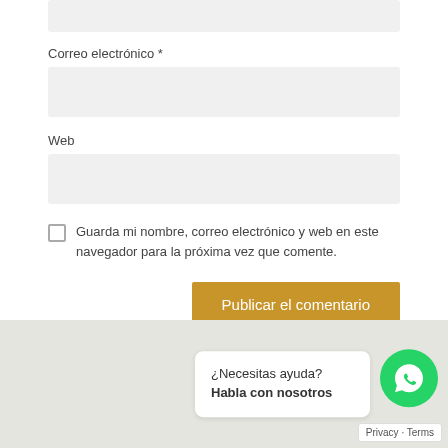[Figure (screenshot): Top partial input field (cut off at top of page)]
Correo electrónico *
[Figure (screenshot): Email input field (light gray)]
Web
[Figure (screenshot): Web input field (light gray)]
Guarda mi nombre, correo electrónico y web en este navegador para la próxima vez que comente.
[Figure (screenshot): Publicar el comentario button in gold/amber color]
¿Necesitas ayuda? Habla con nosotros
[Figure (screenshot): WhatsApp green circle icon]
Privacy · Terms